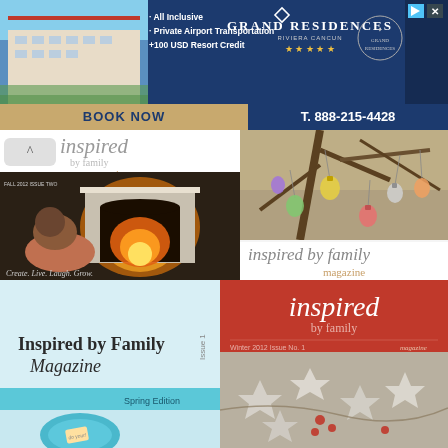[Figure (photo): Grand Residences Riviera Cancun advertisement banner with resort photo, logo, amenity bullets (All Inclusive, Private Airport Transportation, +100 USD Resort Credit), BOOK NOW button, and phone number T. 888-215-4428]
[Figure (photo): Inspired by Family Magazine logo/header with back arrow, showing magazine title 'inspired by family magazine' with a fireplace cover image labeled 'Create. Live. Laugh. Grow.']
[Figure (photo): Inspired by family magazine cover showing decorative ornaments hanging from tree branches]
inspired by family
magazine
[Figure (photo): Inspired by Family Magazine Spring Edition cover with blue/teal design and egg image, Issue 1]
[Figure (photo): Inspired magazine Winter 2012 Issue No. 1 red cover with star-shaped decorations and berries photo]